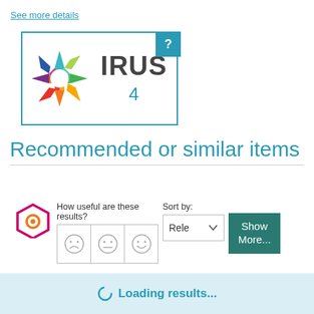See more details
[Figure (logo): IRUS logo with colorful star/snowflake shape and the text IRUS, with a teal badge showing '?' and the number 4 below]
Recommended or similar items
[Figure (logo): iKVA logo - hexagonal orange/purple icon with text iKVA]
How useful are these results?
Sort by:
Rele
Show More...
Loading results...